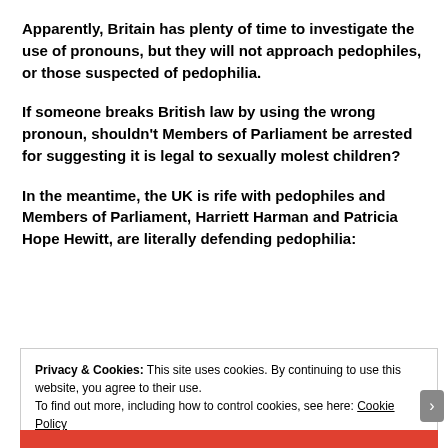Apparently, Britain has plenty of time to investigate the use of pronouns, but they will not approach pedophiles, or those suspected of pedophilia.
If someone breaks British law by using the wrong pronoun, shouldn’t Members of Parliament be arrested for suggesting it is legal to sexually molest children?
In the meantime, the UK is rife with pedophiles and Members of Parliament, Harriett Harman and Patricia Hope Hewitt, are literally defending pedophilia:
Privacy & Cookies: This site uses cookies. By continuing to use this website, you agree to their use. To find out more, including how to control cookies, see here: Cookie Policy